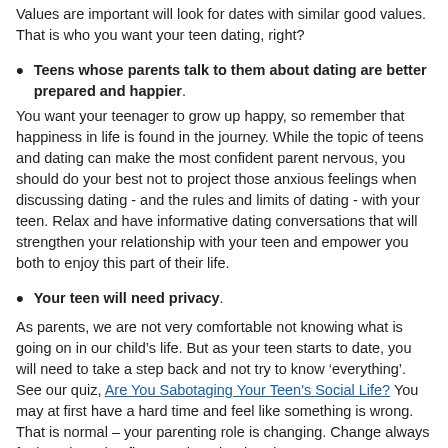Values are important will look for dates with similar good values. That is who you want your teen dating, right?
Teens whose parents talk to them about dating are better prepared and happier. You want your teenager to grow up happy, so remember that happiness in life is found in the journey. While the topic of teens and dating can make the most confident parent nervous, you should do your best not to project those anxious feelings when discussing dating - and the rules and limits of dating - with your teen. Relax and have informative dating conversations that will strengthen your relationship with your teen and empower you both to enjoy this part of their life.
Your teen will need privacy. As parents, we are not very comfortable not knowing what is going on in our child’s life. But as your teen starts to date, you will need to take a step back and not try to know ‘everything’. See our quiz, Are You Sabotaging Your Teen's Social Life? You may at first have a hard time and feel like something is wrong. That is normal – your parenting role is changing. Change always feels awkward at first. On the other hand, your teenager may want to chat about the experience. He/she may have some questions